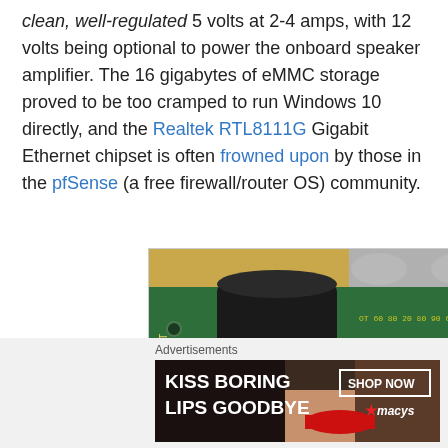clean, well-regulated 5 volts at 2-4 amps, with 12 volts being optional to power the onboard speaker amplifier. The 16 gigabytes of eMMC storage proved to be too cramped to run Windows 10 directly, and the Realtek RTL8111G Gigabit Ethernet chipset is often frowned upon by those in the pfSense (a free firewall/router OS) community.
[Figure (photo): Close-up photo of a green circuit board (PCB) with electronic components including a black cylindrical capacitor, IC chips, an inductor coil marked '100', and through-hole pins along the edges. The board appears to be a small power module or breakout board.]
Advertisements
[Figure (photo): Advertisement banner for Macy's cosmetics. Shows a woman's face with red lipstick on a dark background. Text reads 'KISS BORING LIPS GOODBYE' with 'SHOP NOW' button and Macy's star logo.]